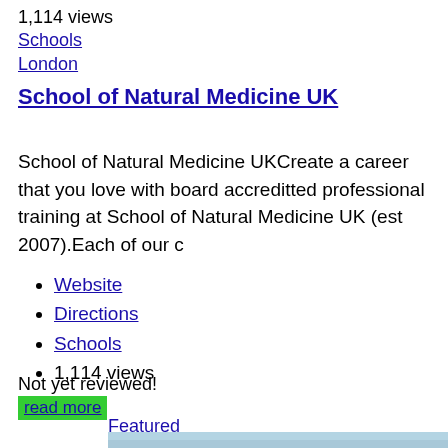1,114 views
Schools
London
School of Natural Medicine UK
School of Natural Medicine UKCreate a career that you love with board accreditted professional training at School of Natural Medicine UK (est 2007).Each of our c
Website
Directions
Schools
1,114 views
Not yet reviewed!
read more
Featured
[Figure (photo): Exterior photo of a building with a triangular roofline, trees in background, green siding visible on left]